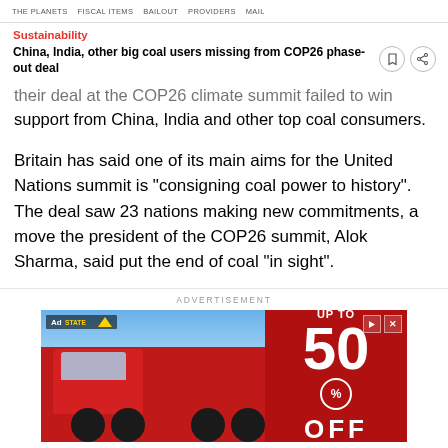Sustainability | China, India, other big coal users missing from COP26 phase-out deal
Sustainability
China, India, other big coal users missing from COP26 phase-out deal
their deal at the COP26 climate summit failed to win support from China, India and other top coal consumers.
Britain has said one of its main aims for the United Nations summit is "consigning coal power to history". The deal saw 23 nations making new commitments, a move the president of the COP26 summit, Alok Sharma, said put the end of coal "in sight".
ADVERTISEMENT
[Figure (photo): Advertisement banner showing a red semi-truck with text 'UP TO 50% OFF']